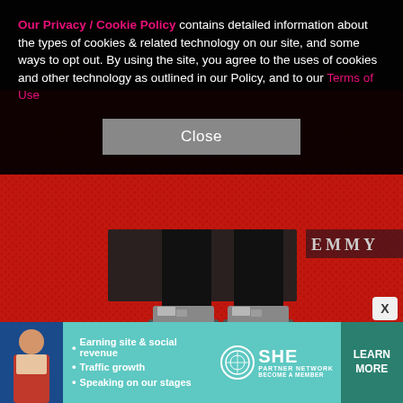[Figure (photo): Photo of person's legs in black trousers wearing silver/metallic platform boots on a red carpet, with partial 'EMMY' text visible in background. Cookie consent overlay and advertisement banner overlaid on top.]
Our Privacy / Cookie Policy contains detailed information about the types of cookies & related technology on our site, and some ways to opt out. By using the site, you agree to the uses of cookies and other technology as outlined in our Policy, and to our Terms of Use
Close
[Figure (infographic): SHE Media Partner Network advertisement banner with teal background. Shows woman photo, bullet points: Earning site & social revenue, Traffic growth, Speaking on our stages. SHE PARTNER NETWORK BECOME A MEMBER logo. LEARN MORE button in dark teal.]